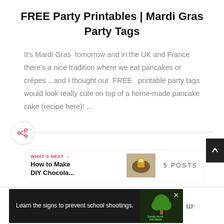FREE Party Printables | Mardi Gras Party Tags
It's Mardi Gras  tomorrow and in the UK and France there's a nice tradition where we eat pancakes or crêpes ...and I thought our  FREE   printable party tags would look really cute on top of a home-made pancake cake (recipe here)! ...
[Figure (other): Share button icon (pink/red share symbol with plus)]
[Figure (other): Scroll-to-top button (dark background, up arrow)]
[Figure (other): What's Next box with thumbnail of chocolate DIY craft, label 'WHAT'S NEXT', title 'How to Make DIY Chocola...', and '5 POSTS' label]
[Figure (other): Ad banner: dark background with text 'Learn the signs to prevent school shootings.' and Sandy Hook Promise logo with tree graphic]